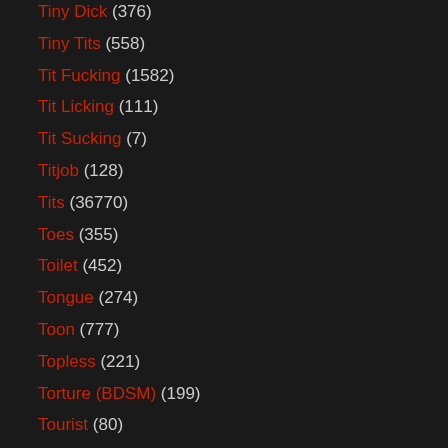Tiny Dick (376)
Tiny Tits (558)
Tit Fucking (1582)
Tit Licking (111)
Tit Sucking (7)
Titjob (128)
Tits (36770)
Toes (355)
Toilet (452)
Tongue (274)
Toon (777)
Topless (221)
Torture (BDSM) (199)
Tourist (80)
Toys (13036)
Trailer Girl (0)